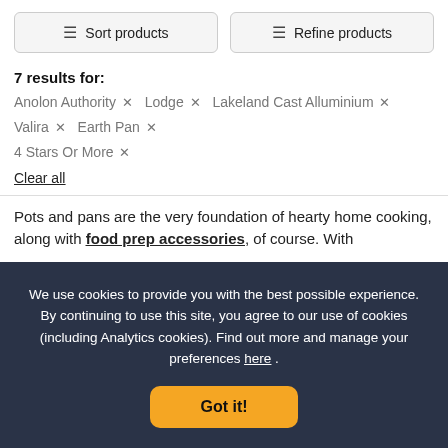Sort products
Refine products
7 results for:
Anolon Authority × Lodge × Lakeland Cast Alluminium × Valira × Earth Pan × 4 Stars Or More ×
Clear all
Pots and pans are the very foundation of hearty home cooking, along with food prep accessories, of course. With
We use cookies to provide you with the best possible experience. By continuing to use this site, you agree to our use of cookies (including Analytics cookies). Find out more and manage your preferences here .
Got it!